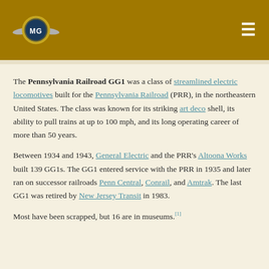MG logo and hamburger menu
The Pennsylvania Railroad GG1 was a class of streamlined electric locomotives built for the Pennsylvania Railroad (PRR), in the northeastern United States. The class was known for its striking art deco shell, its ability to pull trains at up to 100 mph, and its long operating career of more than 50 years.
Between 1934 and 1943, General Electric and the PRR's Altoona Works built 139 GG1s. The GG1 entered service with the PRR in 1935 and later ran on successor railroads Penn Central, Conrail, and Amtrak. The last GG1 was retired by New Jersey Transit in 1983.
Most have been scrapped, but 16 are in museums.[1]